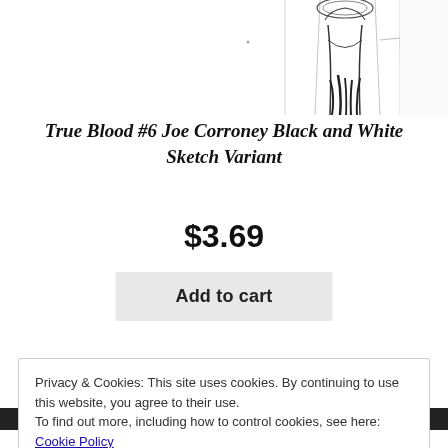[Figure (illustration): Partial view of a black and white sketch comic book cover showing figures, top portion cropped]
True Blood #6 Joe Corroney Black and White Sketch Variant
$3.69
Add to cart
Privacy & Cookies: This site uses cookies. By continuing to use this website, you agree to their use.
To find out more, including how to control cookies, see here: Cookie Policy
Close and accept